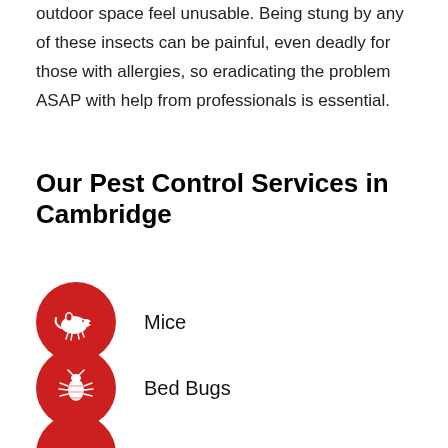outdoor space feel unusable. Being stung by any of these insects can be painful, even deadly for those with allergies, so eradicating the problem ASAP with help from professionals is essential.
Our Pest Control Services in Cambridge
Mice
Bed Bugs